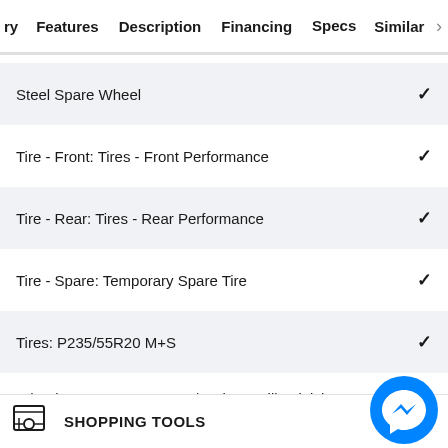ry  Features  Description  Financing  Specs  Similar
Steel Spare Wheel ✓
Tire - Front: Tires - Front Performance ✓
Tire - Rear: Tires - Rear Performance ✓
Tire - Spare: Temporary Spare Tire ✓
Tires: P235/55R20 M+S ✓
Wheels: 20" x 8" F Sport w/Dark Metallic Finish
SHOPPING TOOLS